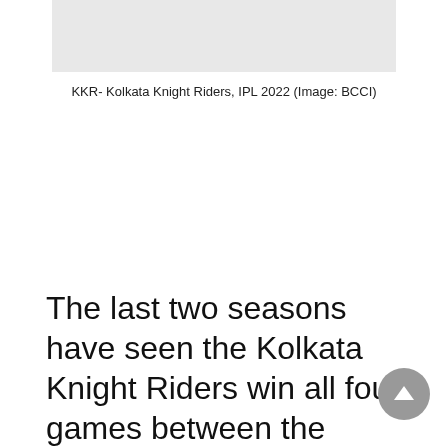[Figure (photo): Placeholder image area for KKR - Kolkata Knight Riders IPL 2022 photo]
KKR- Kolkata Knight Riders, IPL 2022 (Image: BCCI)
The last two seasons have seen the Kolkata Knight Riders win all four games between the